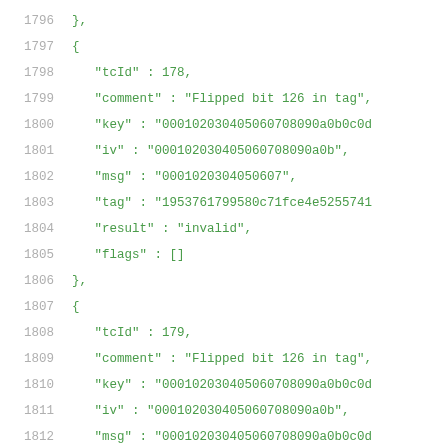1796    },
1797    {
1798        "tcId" : 178,
1799        "comment" : "Flipped bit 126 in tag",
1800        "key" : "000102030405060708090a0b0c0d
1801        "iv" : "000102030405060708090a0b",
1802        "msg" : "0001020304050607",
1803        "tag" : "1953761799580c71fce4e5255741
1804        "result" : "invalid",
1805        "flags" : []
1806    },
1807    {
1808        "tcId" : 179,
1809        "comment" : "Flipped bit 126 in tag",
1810        "key" : "000102030405060708090a0b0c0d
1811        "iv" : "000102030405060708090a0b",
1812        "msg" : "000102030405060708090a0b0c0d
1813        "tag" : "b0fe0fa17018d0b26dae31c7a8b8
1814        "result" : "invalid",
1815        "flags" : []
1816    },